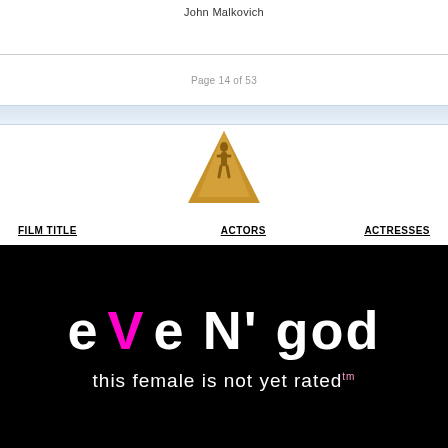John Malkovich
Page 14 of 53
| FILM TITLE | ACTORS | ACTRESSES |
| --- | --- | --- |
[Figure (logo): Oscar Academy Award statuette logo in gold/amber color, triangular pedestal shape with figure on top]
[Figure (photo): Black background movie poster for 'eVe N' god - this female is not yet rated tm'. Text in white with V in magenta/pink. Large stylized text reads 'eVe N' god' and below 'this female is not yet rated' with tm superscript.]